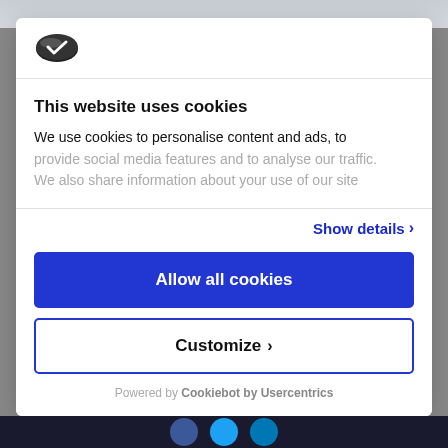[Figure (logo): Cookiebot logo — dark elliptical cookie/checkmark icon]
This website uses cookies
We use cookies to personalise content and ads, to provide social media features and to analyse our traffic. We also share information about your use of our site
Show details ›
Allow all cookies
Customize ›
Powered by Cookiebot by Usercentrics